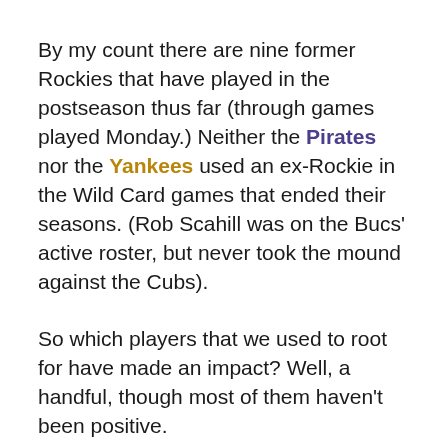By my count there are nine former Rockies that have played in the postseason thus far (through games played Monday.) Neither the Pirates nor the Yankees used an ex-Rockie in the Wild Card games that ended their seasons. (Rob Scahill was on the Bucs' active roster, but never took the mound against the Cubs).
So which players that we used to root for have made an impact? Well, a handful, though most of them haven't been positive.
Let's start in the National League. The player who has made his presence felt the most is probably Dexter Fowler. Fowler did most of his damage in the Wild Card play-in game, where he went 3-for-4 with a homer and the score was in the Cubs' active roster...